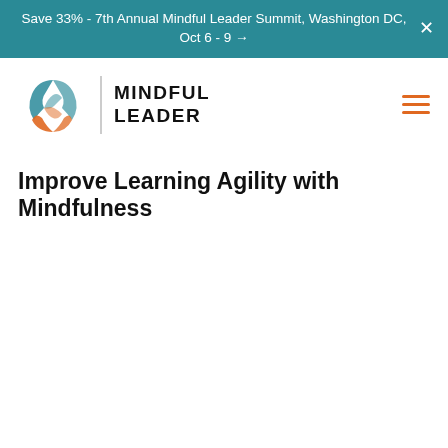Save 33% - 7th Annual Mindful Leader Summit, Washington DC, Oct 6 - 9 →
[Figure (logo): Mindful Leader logo with swirl icon in teal and orange colors, vertical divider, and bold text 'MINDFUL LEADER']
Improve Learning Agility with Mindfulness